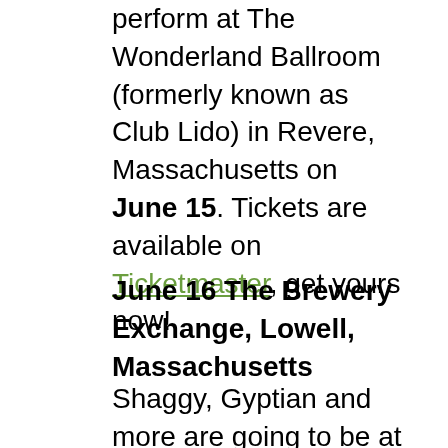perform at The Wonderland Ballroom (formerly known as Club Lido) in Revere, Massachusetts on June 15. Tickets are available on Ticketmaster, get yours now!
June 16 The Brewery Exchange, Lowell, Massachusetts
Shaggy, Gyptian and more are going to be at The Brewery Exchange in Lowell, Massachusetts, on June 16!